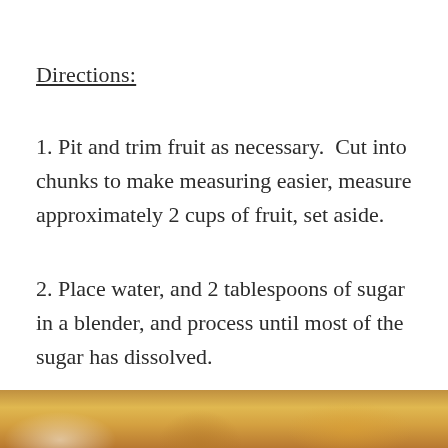Directions:
1. Pit and trim fruit as necessary.  Cut into chunks to make measuring easier, measure approximately 2 cups of fruit, set aside.
2. Place water, and 2 tablespoons of sugar in a blender, and process until most of the sugar has dissolved.
[Figure (photo): Partial view of a food photograph at the bottom of the page, showing warm golden/brown tones consistent with a fruit or blended drink.]